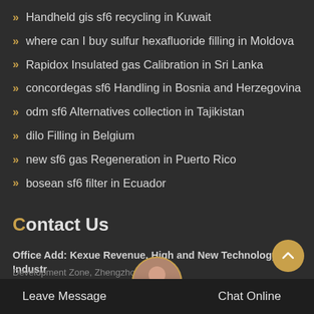Handheld gis sf6 recycling in Kuwait
where can I buy sulfur hexafluoride filling in Moldova
Rapidox Insulated gas Calibration in Sri Lanka
concordegas sf6 Handling in Bosnia and Herzegovina
odm sf6 Alternatives collection in Tajikistan
dilo Filling in Belgium
new sf6 gas Regeneration in Puerto Rico
bosean sf6 filter in Ecuador
Contact Us
Office Add: Kexue Revenue, High and New Technology Industry Development Zone, Zhengzhou
Leave Message   Chat Online